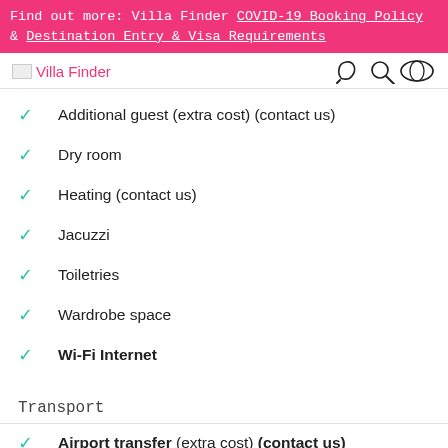Find out more: Villa Finder COVID-19 Booking Policy & Destination Entry & Visa Requirements
Villa Finder
Additional guest (extra cost) (contact us)
Dry room
Heating (contact us)
Jacuzzi
Toiletries
Wardrobe space
Wi-Fi Internet
Transport
Airport transfer (extra cost) (contact us)